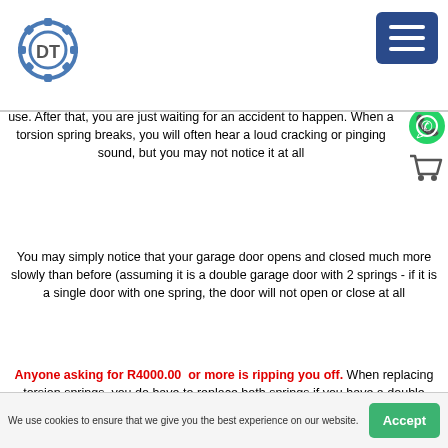[Figure (logo): DT gear logo in blue and grey]
[Figure (illustration): Dark blue hamburger menu button]
use. After that, you are just waiting for an accident to happen. When a torsion spring breaks, you will often hear a loud cracking or pinging sound, but you may not notice it at all
[Figure (illustration): WhatsApp green phone icon]
[Figure (illustration): Shopping cart icon]
You may simply notice that your garage door opens and closed much more slowly than before (assuming it is a double garage door with 2 springs - if it is a single door with one spring, the door will not open or close at all
Anyone asking for R4000.00  or more is ripping you off. When replacing torsion springs, you do have to replace both springs if you have a double garage door, or a single spring if you have a single door.
We use cookies to ensure that we give you the best experience on our website.